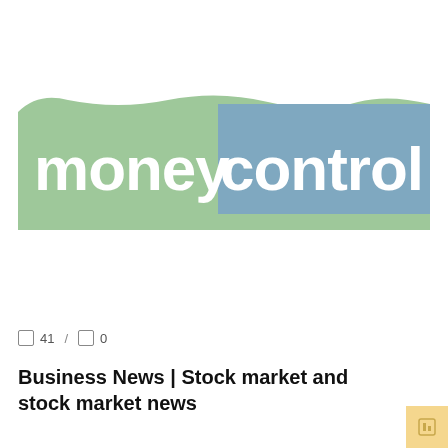[Figure (logo): Moneycontrol logo: 'money' text on green wavy background, 'control' text on blue rectangle background]
□ 41 / □ 0
Business News | Stock market and stock market news